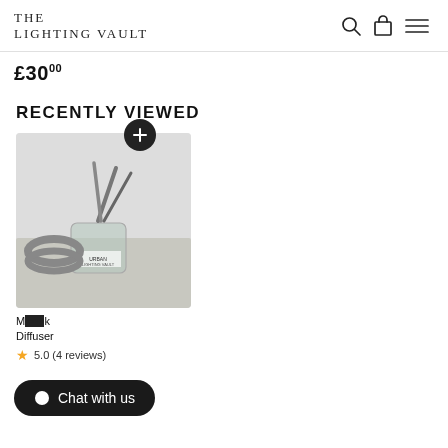THE LIGHTING VAULT
£30.00
RECENTLY VIEWED
[Figure (photo): Photo of an Urban scent reed diffuser with dark reed sticks in a small glass jar, placed on a surface with a candle ring nearby.]
M[...] k Diffuser
5.0 (4 reviews)
Chat with us